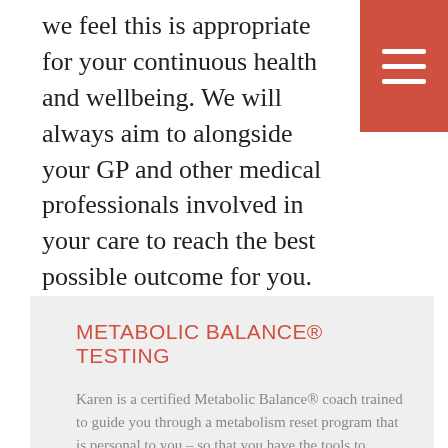we feel this is appropriate for your continuous health and wellbeing. We will always aim to alongside your GP and other medical professionals involved in your care to reach the best possible outcome for you.
METABOLIC BALANCE® TESTING
Karen is a certified Metabolic Balance® coach trained to guide you through a metabolism reset program that is personal to you – so that you have the tools to maintain your optimal weight.